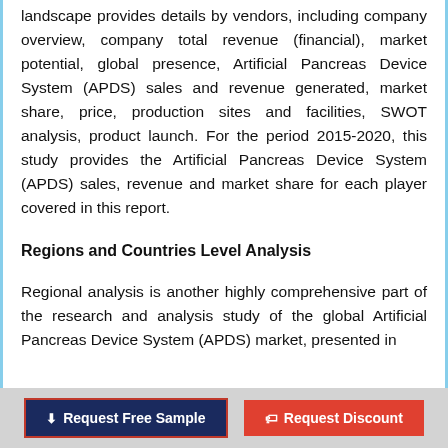landscape provides details by vendors, including company overview, company total revenue (financial), market potential, global presence, Artificial Pancreas Device System (APDS) sales and revenue generated, market share, price, production sites and facilities, SWOT analysis, product launch. For the period 2015-2020, this study provides the Artificial Pancreas Device System (APDS) sales, revenue and market share for each player covered in this report.
Regions and Countries Level Analysis
Regional analysis is another highly comprehensive part of the research and analysis study of the global Artificial Pancreas Device System (APDS) market, presented in
Request Free Sample   Request Discount